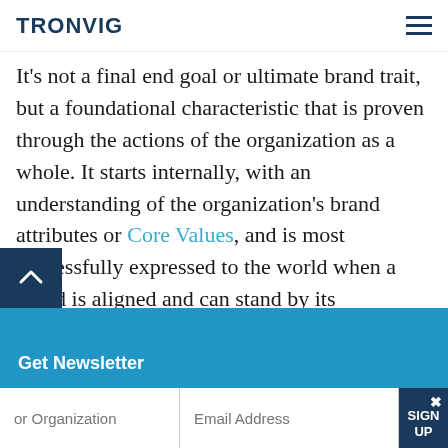TRONVIG
It's not a final end goal or ultimate brand trait, but a foundational characteristic that is proven through the actions of the organization as a whole. It starts internally, with an understanding of the organization's brand attributes or Core Values, and is most successfully expressed to the world when a brand is aligned and can stand by its operational policies, practices, and behaviors.
Get Newsletter | or Organization | Email Address | SIGN UP